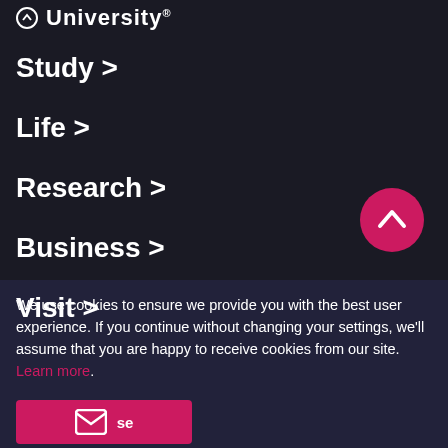University
Study >
Life >
Research >
Business >
Visit >
We use cookies to ensure we provide you with the best user experience. If you continue without changing your settings, we'll assume that you are happy to receive cookies from our site. Learn more.
[Figure (other): Pink circular scroll-to-top button with upward arrow icon]
[Figure (other): Pink close/dismiss button with envelope icon and partial text 'se']